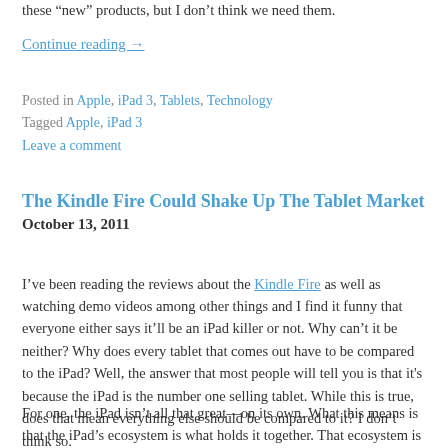these “new” products, but I don’t think we need them.
Continue reading →
Posted in Apple, iPad 3, Tablets, Technology
Tagged Apple, iPad 3
Leave a comment
The Kindle Fire Could Shake Up The Tablet Market
October 13, 2011
I’ve been reading the reviews about the Kindle Fire as well as watching demo videos among other things and I find it funny that everyone either says it’ll be an iPad killer or not. Why can’t it be neither? Why does every tablet that comes out have to be compared to the iPad? Well, the answer that most people will tell you is that it's because the iPad is the number one selling tablet. While this is true, does that mean everything else should be compared to it? I don’t think so.
For one, the iPad isn’t all that great—on its own. What this means is that the iPad’s ecosystem is what holds it together. That ecosystem is